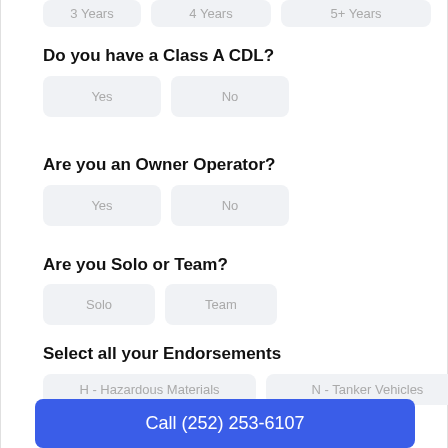3 Years | 4 Years | 5+ Years (buttons)
Do you have a Class A CDL?
Yes
No
Are you an Owner Operator?
Yes
No
Are you Solo or Team?
Solo
Team
Select all your Endorsements
H - Hazardous Materials
N - Tanker Vehicles
P - Passengers
S - School Bus
Call (252) 253-6107